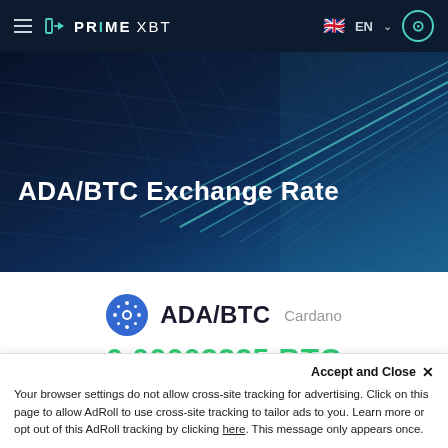PRIME XBT  EN
[Figure (screenshot): Hero banner with dark blue geometric grid/network pattern background showing 'ADA/BTC Exchange Rate' title on PrimeXBT website]
ADA/BTC Exchange Rate
ADA/BTC  Cardano
0.00002225 BTC
+0.00 (+1.41%)
Accept and Close ×
Your browser settings do not allow cross-site tracking for advertising. Click on this page to allow AdRoll to use cross-site tracking to tailor ads to you. Learn more or opt out of this AdRoll tracking by clicking here. This message only appears once.